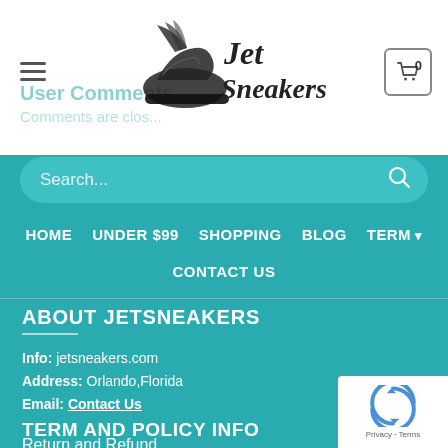[Figure (logo): Jet Sneakers logo — winged sneaker with 'Jet Sneakers' text in decorative font]
User Comments
Comments are clos...
Search...
HOME   UNDER $99   SHOPPING   BLOG   TERM ▾   CONTACT US
ABOUT JETSNEAKERS
Info: jetsneakers.com
Address: Orlando,Florida
Email: Contact Us
TERM AND POLICY INFO
Return and Refund